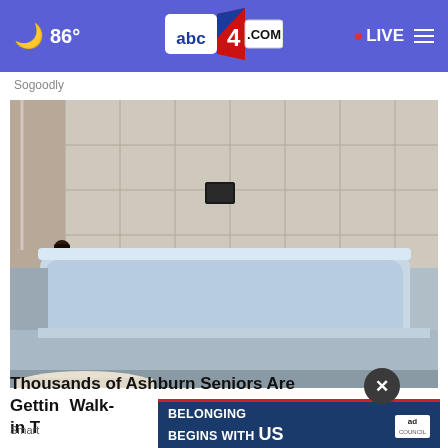🌙 86° | abc4.com | • LIVE ≡
Sogoodly
[Figure (photo): Indoor bathroom with a light blue/white bathtub against tiled walls. A black faucet and hardware are on the left side. A small black square object is mounted on the tiled wall in the center. The bottom shows a partial view of a toilet lid.]
Thousands of Ashburn Seniors Are Getting Walk-in T
[Figure (other): Advertisement banner: 'BELONGING BEGINS WITH US' with ad council logo. Dark blue background with red accent line.]
Smart